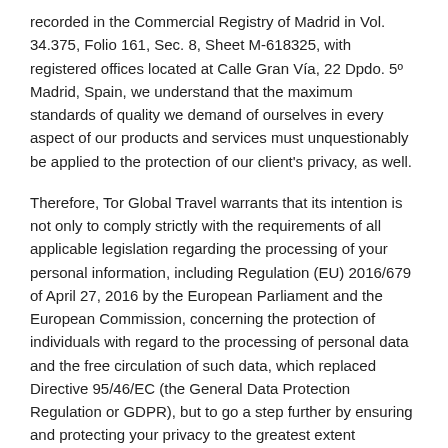recorded in the Commercial Registry of Madrid in Vol. 34.375, Folio 161, Sec. 8, Sheet M-618325, with registered offices located at Calle Gran Vía, 22 Dpdo. 5º Madrid, Spain, we understand that the maximum standards of quality we demand of ourselves in every aspect of our products and services must unquestionably be applied to the protection of our client's privacy, as well.
Therefore, Tor Global Travel warrants that its intention is not only to comply strictly with the requirements of all applicable legislation regarding the processing of your personal information, including Regulation (EU) 2016/679 of April 27, 2016 by the European Parliament and the European Commission, concerning the protection of individuals with regard to the processing of personal data and the free circulation of such data, which replaced Directive 95/46/EC (the General Data Protection Regulation or GDPR), but to go a step further by ensuring and protecting your privacy to the greatest extent possible.
In this document, you will find all the information you need in order to understand how we manage and ensure your privacy.